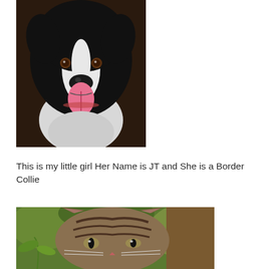[Figure (photo): Close-up photo of a black and white Border Collie dog with tongue out, looking at camera]
This is my little girl Her Name is JT and She is a Border Collie
[Figure (photo): Close-up photo of a tabby cat outdoors with green foliage in background]